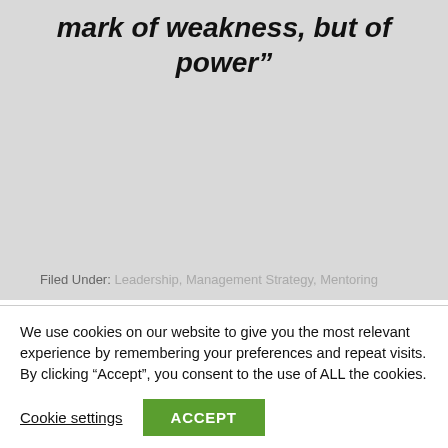mark of weakness, but of power”
[Figure (other): LinkedIn Share button]
Filed Under: Leadership, Management Strategy, Mentoring
We use cookies on our website to give you the most relevant experience by remembering your preferences and repeat visits. By clicking “Accept”, you consent to the use of ALL the cookies.
Cookie settings
ACCEPT